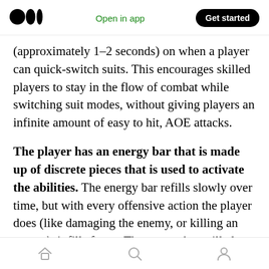Medium logo | Open in app | Get started
(approximately 1–2 seconds) on when a player can quick-switch suits. This encourages skilled players to stay in the flow of combat while switching suit modes, without giving players an infinite amount of easy to hit, AOE attacks.
The player has an energy bar that is made up of discrete pieces that is used to activate the abilities. The energy bar refills slowly over time, but with every offensive action the player does (like damaging the enemy, or killing an enemy), it fills faster. The energy bar will also fill faster the higher the player's combo is.
Home | Search | Profile